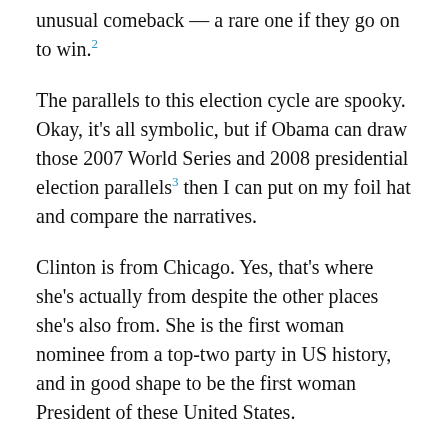unusual comeback — a rare one if they go on to win.²
The parallels to this election cycle are spooky. Okay, it's all symbolic, but if Obama can draw those 2007 World Series and 2008 presidential election parallels³ then I can put on my foil hat and compare the narratives.
Clinton is from Chicago. Yes, that's where she's actually from despite the other places she's also from. She is the first woman nominee from a top-two party in US history, and in good shape to be the first woman President of these United States.
Her opponent, Donald Trump, is arguably the most openly misogynist⁴ candidate ever to clinch the nomination of a major party in the United States since the Nineteenth Amendment guaranteed women the right